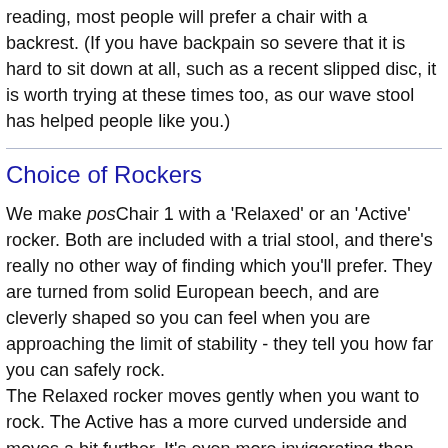reading, most people will prefer a chair with a backrest. (If you have backpain so severe that it is hard to sit down at all, such as a recent slipped disc, it is worth trying at these times too, as our wave stool has helped people like you.)
Choice of Rockers
We make posChair 1 with a 'Relaxed' or an 'Active' rocker. Both are included with a trial stool, and there's really no other way of finding which you'll prefer. They are turned from solid European beech, and are cleverly shaped so you can feel when you are approaching the limit of stability - they tell you how far you can safely rock.
The Relaxed rocker moves gently when you want to rock. The Active has a more curved underside and moves a bit further. It's even more invigorating than the relaxed, like the difference between a hybrid and a road bike. If you take naturally to this you may find the relaxed a bit dull and static by comparison.